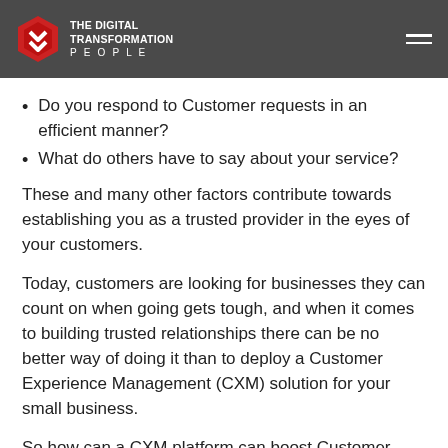THE DIGITAL TRANSFORMATION PEOPLE
Do you respond to Customer requests in an efficient manner?
What do others have to say about your service?
These and many other factors contribute towards establishing you as a trusted provider in the eyes of your customers.
Today, customers are looking for businesses they can count on when going gets tough, and when it comes to building trusted relationships there can be no better way of doing it than to deploy a Customer Experience Management (CXM) solution for your small business.
So how can a CXM platform can boost Customer trust in your service? Let’s dive in!